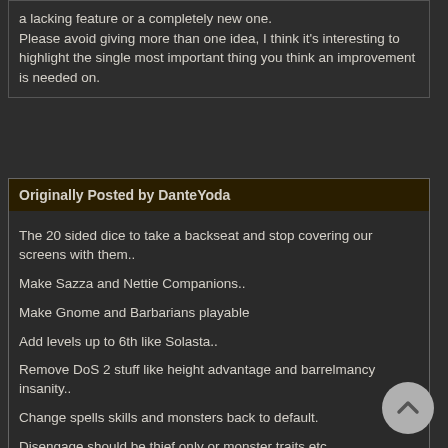a lacking feature or a completely new one. Please avoid giving more than one idea, I think it's interesting to highlight the single most important thing you think an improvement is needed on.
Originally Posted by DanteYoda
The 20 sided dice to take a backseat and stop covering our screens with them..
Make Sazza and Nettie Companions..
Make Gnome and Barbarians playable
Add levels up to 6th like Solasta..
Remove DoS 2 stuff like height advantage and barrelmancy insanity..
Change spells skills and monsters back to default.
Disengage should be thief only or monster traits etc.
Add dodge.